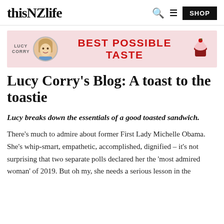thisNZlife  [search icon] [menu icon] SHOP
[Figure (illustration): Lucy Corry Best Possible Taste blog banner with circular photo of Lucy Corry on pink background with red bold text 'BEST POSSIBLE TASTE' and a cupcake illustration on the right]
Lucy Corry's Blog: A toast to the toastie
Lucy breaks down the essentials of a good toasted sandwich.
There's much to admire about former First Lady Michelle Obama. She's whip-smart, empathetic, accomplished, dignified – it's not surprising that two separate polls declared her the 'most admired woman' of 2019. But oh my, she needs a serious lesson in the